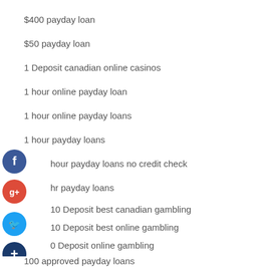$400 payday loan
$50 payday loan
1 Deposit canadian online casinos
1 hour online payday loan
1 hour online payday loans
1 hour payday loans
1 hour payday loans no credit check
1 hr payday loans
10 Deposit best canadian gambling
10 Deposit best online gambling
10 Deposit online gambling
100 approved payday loans
100 Best Dating Sites